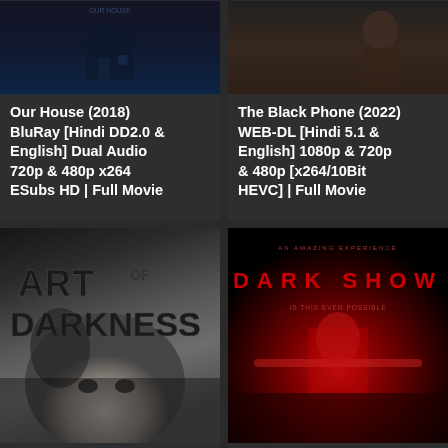[Figure (photo): Movie card for Our House (2018) - dark blue/navy movie poster image at top]
Our House (2018) BluRay [Hindi DD2.0 & English] Dual Audio 720p & 480p x264 ESubs HD | Full Movie
[Figure (photo): Movie card for The Black Phone (2022) - dark brownish movie poster image at top]
The Black Phone (2022) WEB-DL [Hindi 5.1 & English] 1080p & 720p & 480p [x264/10Bit HEVC] | Full Movie
[Figure (photo): Art of Darkness movie poster - grayscale horror image with large text ART OF DARKNESS]
[Figure (photo): Dark Show movie poster - dark red/black image with title DARK SHOW in red letters]